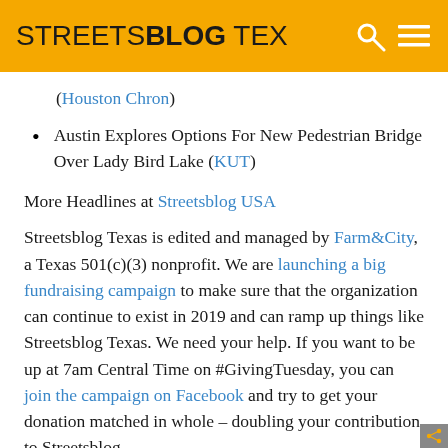STREETSBLOG TEX
(Houston Chron)
Austin Explores Options For New Pedestrian Bridge Over Lady Bird Lake (KUT)
More Headlines at Streetsblog USA
Streetsblog Texas is edited and managed by Farm&City, a Texas 501(c)(3) nonprofit. We are launching a big fundraising campaign to make sure that the organization can continue to exist in 2019 and can ramp up things like Streetsblog Texas. We need your help. If you want to be up at 7am Central Time on #GivingTuesday, you can join the campaign on Facebook and try to get your donation matched in whole – doubling your contribution to Streetsblog